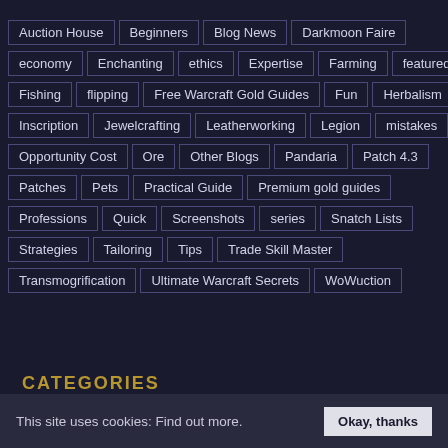Auction House, Beginners, Blog News, Darkmoon Faire
economy, Enchanting, ethics, Expertise, Farming, featured
Fishing, flipping, Free Warcraft Gold Guides, Fun, Herbalism
Inscription, Jewelcrafting, Leatherworking, Legion, mistakes
Opportunity Cost, Ore, Other Blogs, Pandaria, Patch 4.3
Patches, Pets, Practical Guide, Premium gold guides
Professions, Quick, Screenshots, series, Snatch Lists
Strategies, Tailoring, Tips, Trade Skill Master
Transmogrification, Ultimate Warcraft Secrets, WoWuction
CATEGORIES
This site uses cookies: Find out more.
Okay, thanks